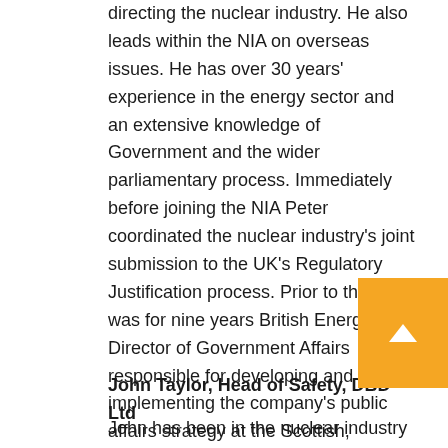directing the nuclear industry. He also leads within the NIA on overseas issues. He has over 30 years' experience in the energy sector and an extensive knowledge of Government and the wider parliamentary process. Immediately before joining the NIA Peter coordinated the nuclear industry's joint submission to the UK's Regulatory Justification process. Prior to this he was for nine years British Energy's Director of Government Affairs responsible for developing and implementing the company's public affairs strategy at the Scottish, Westminster and European levels. Before joining the electricity industry Peter was a career civil servant in the Department of Energy, including spells as private secretary to two Government Ministers.
John Taylor, Head of Safety, DBD Ltd
John has been in the nuclear industry for thirty